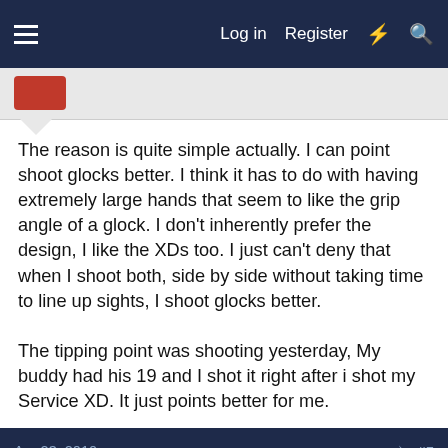Log in   Register
The reason is quite simple actually. I can point shoot glocks better. I think it has to do with having extremely large hands that seem to like the grip angle of a glock. I don't inherently prefer the design, I like the XDs too. I just can't deny that when I shoot both, side by side without taking time to line up sights, I shoot glocks better.

The tipping point was shooting yesterday, My buddy had his 19 and I shot it right after i shot my Service XD. It just points better for me.
Apr 23, 2010   #5
HHB Guns
Well-Known Member